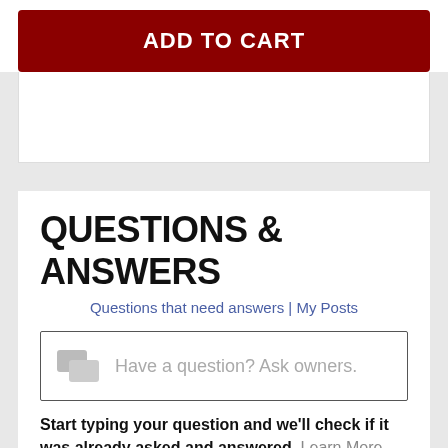ADD TO CART
QUESTIONS & ANSWERS
Questions that need answers | My Posts
Have a question? Ask owners.
Start typing your question and we'll check if it was already asked and answered. Learn More
No questions have been asked about this item. Be the first!